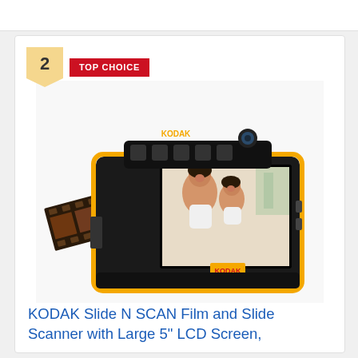[Figure (photo): Top navigation/header bar area (white background)]
[Figure (photo): Product card showing a Kodak Slide N SCAN film and slide scanner with yellow trim. The scanner has a black body with yellow border, multiple buttons on top, a 5-inch LCD screen showing a mother and daughter photo, and a film strip being loaded from the left side. A badge in the top-left shows '2' with 'TOP CHOICE' label in red.]
KODAK Slide N SCAN Film and Slide Scanner with Large 5" LCD Screen,